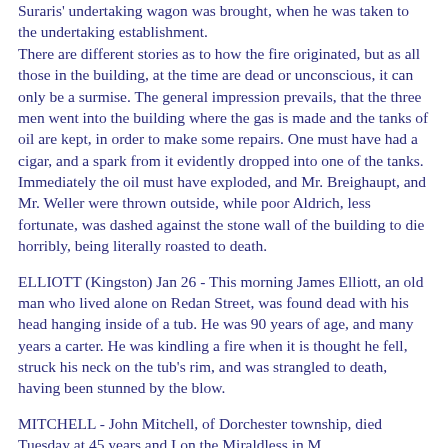Suraris' undertaking wagon was brought, when he was taken to the undertaking establishment.
There are different stories as to how the fire originated, but as all those in the building, at the time are dead or unconscious, it can only be a surmise. The general impression prevails, that the three men went into the building where the gas is made and the tanks of oil are kept, in order to make some repairs. One must have had a cigar, and a spark from it evidently dropped into one of the tanks. Immediately the oil must have exploded, and Mr. Breighaupt, and Mr. Weller were thrown outside, while poor Aldrich, less fortunate, was dashed against the stone wall of the building to die horribly, being literally roasted to death.
ELLIOTT (Kingston) Jan 26 - This morning James Elliott, an old man who lived alone on Redan Street, was found dead with his head hanging inside of a tub. He was 90 years of age, and many years a carter. He was kindling a fire when it is thought he fell, struck his neck on the tub's rim, and was strangled to death, having been stunned by the blow.
MITCHELL - John Mitchell, of Dorchester township, died Tuesday at 45 years and I on the Miraldless in M...